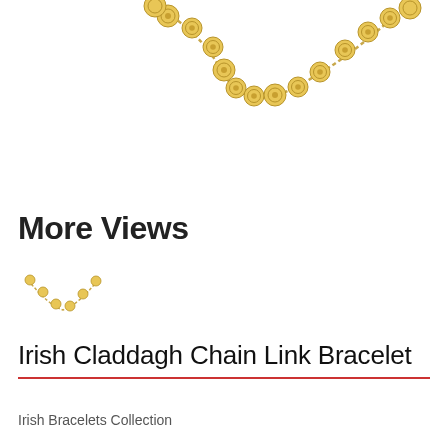[Figure (photo): Gold Irish Claddagh chain link bracelet with circular Claddagh charms, photographed from above showing the curved drape of the bracelet against a white background.]
More Views
[Figure (photo): Small thumbnail image of the Irish Claddagh Chain Link Bracelet.]
Irish Claddagh Chain Link Bracelet
Irish Bracelets Collection